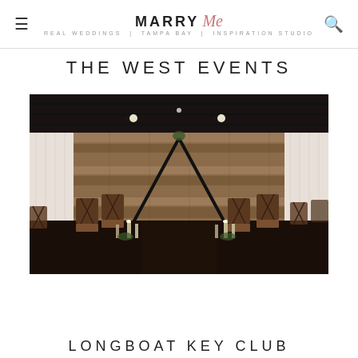MARRY Me TAMPA BAY
THE WEST EVENTS
[Figure (photo): Indoor wedding ceremony setup with wooden cross-back chairs arranged in rows along an aisle, triangle arch made of black pipe at the far end, reclaimed wood plank wall backdrop, white draping on sides, candles and greenery along the aisle on the dark hardwood floor, industrial ceiling with black beams and pendant lights]
LONGBOAT KEY CLUB